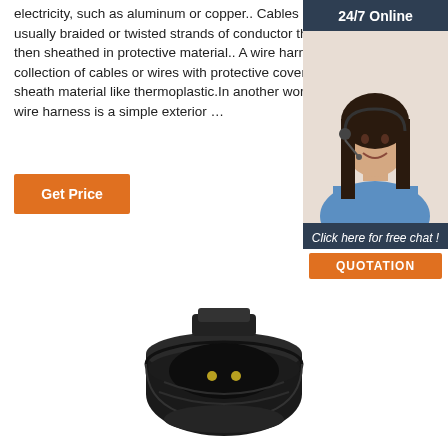electricity, such as aluminum or copper.. Cables are usually braided or twisted strands of conductor that's then sheathed in protective material.. A wire harness is a collection of cables or wires with protective covers, sheath material like thermoplastic.In another word, a wire harness is a simple exterior …
Get Price
24/7 Online
[Figure (photo): Customer service representative woman wearing headset, smiling]
Click here for free chat !
QUOTATION
[Figure (photo): Black circular electrical connector/plug adapter with metal pins, viewed from front at slight angle]